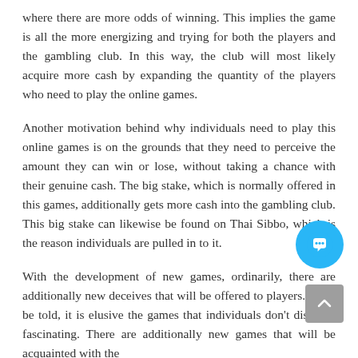where there are more odds of winning. This implies the game is all the more energizing and trying for both the players and the gambling club. In this way, the club will most likely acquire more cash by expanding the quantity of the players who need to play the online games.
Another motivation behind why individuals need to play this online games is on the grounds that they need to perceive the amount they can win or lose, without taking a chance with their genuine cash. The big stake, which is normally offered in this games, additionally gets more cash into the gambling club. This big stake can likewise be found on Thai Sibbo, which is the reason individuals are pulled in to it.
With the development of new games, ordinarily, there are additionally new deceives that will be offered to players. Truth be told, it is elusive the games that individuals don't discover fascinating. There are additionally new games that will be acquainted with the